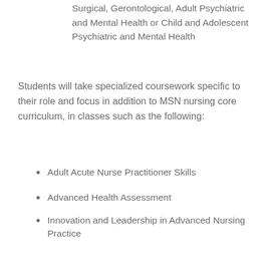Surgical, Gerontological, Adult Psychiatric and Mental Health or Child and Adolescent Psychiatric and Mental Health
Students will take specialized coursework specific to their role and focus in addition to MSN nursing core curriculum, in classes such as the following:
Adult Acute Nurse Practitioner Skills
Advanced Health Assessment
Innovation and Leadership in Advanced Nursing Practice
Becoming an Advanced Practice Nurse in Ohio
Prior to obtaining a Certificate of Authority for